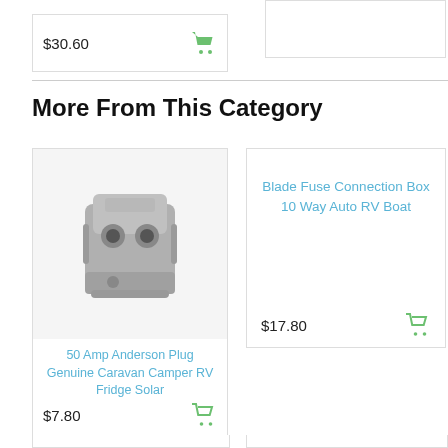$30.60
More From This Category
[Figure (photo): 50 Amp Anderson Plug - grey rectangular industrial electrical connector with two circular terminals]
50 Amp Anderson Plug Genuine Caravan Camper RV Fridge Solar
$7.80
Blade Fuse Connection Box 10 Way Auto RV Boat
$17.80